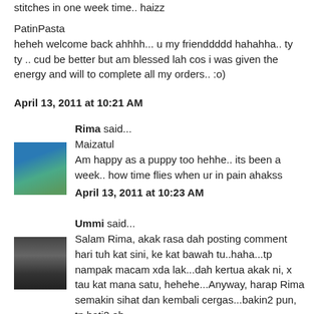stitches in one week time.. haizz
PatinPasta
heheh welcome back ahhhh... u my frienddddd hahahha.. ty ty .. cud be better but am blessed lah cos i was given the energy and will to complete all my orders.. :o)
April 13, 2011 at 10:21 AM
Rima said...
[Figure (photo): Avatar image of Rima - outdoor photo with blue/green colors]
Maizatul
Am happy as a puppy too hehhe.. its been a week.. how time flies when ur in pain ahakss
April 13, 2011 at 10:23 AM
Ummi said...
[Figure (photo): Avatar image of Ummi - person wearing dark clothing]
Salam Rima, akak rasa dah posting comment hari tuh kat sini, ke kat bawah tu..haha...tp nampak macam xda lak...dah kertua akak ni, x tau kat mana satu, hehehe...Anyway, harap Rima semakin sihat dan kembali cergas...bakin2 pun, tp hati2 eh...
April 13, 2011 at 12:19 PM